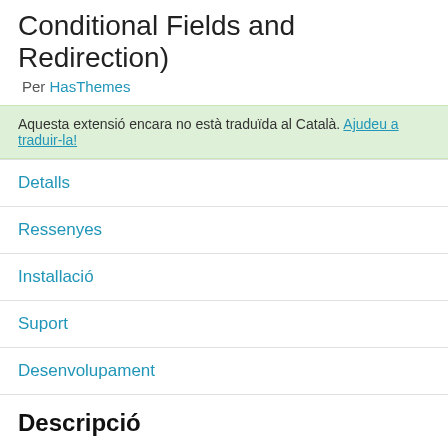Conditional Fields and Redirection)
Per HasThemes
Aquesta extensió encara no està traduïda al Català. Ajudeu a traduir-la!
Detalls
Ressenyes
Installació
Suport
Desenvolupament
Descripció
The Extensions for CF7 is an excellent WordPress plugin that extends the features and functionalities